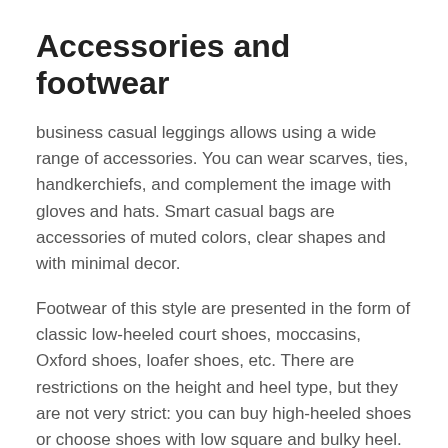Accessories and footwear
business casual leggings allows using a wide range of accessories. You can wear scarves, ties, handkerchiefs, and complement the image with gloves and hats. Smart casual bags are accessories of muted colors, clear shapes and with minimal decor.
Footwear of this style are presented in the form of classic low-heeled court shoes, moccasins, Oxford shoes, loafer shoes, etc. There are restrictions on the height and heel type, but they are not very strict: you can buy high-heeled shoes or choose shoes with low square and bulky heel.
Wearing jewelry is allowed, but only until it looks fussy. Small sizes and neat accessories are preferred. Representatives of large companies should completely forget about any trimmings. A small pendant and pearly